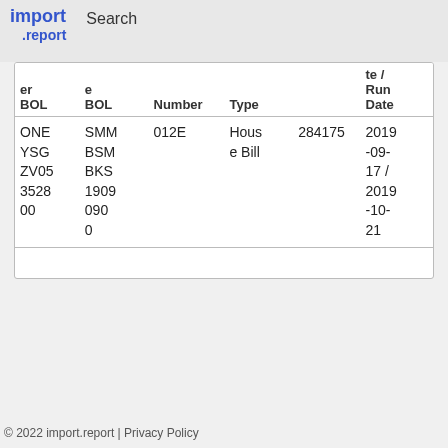import .report  Search
| Carrier BOL | Mode BOL | Number | Type |  | Date / Run Date |
| --- | --- | --- | --- | --- | --- |
| ONE YSG ZV05 3528 00 | SMM BSM BKS 1909 090 0 | 012E | House Bill | 284175 | 2019-09-17 / 2019-10-21 |
|  |  |  |  |  |  |
© 2022 import.report | Privacy Policy